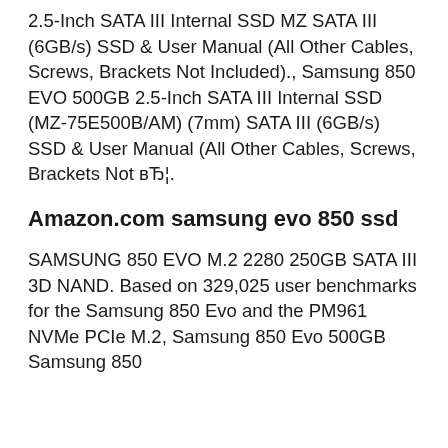2.5-Inch SATA III Internal SSD MZ SATA III (6GB/s) SSD & User Manual (All Other Cables, Screws, Brackets Not Included)., Samsung 850 EVO 500GB 2.5-Inch SATA III Internal SSD (MZ-75E500B/AM) (7mm) SATA III (6GB/s) SSD & User Manual (All Other Cables, Screws, Brackets Not вЂ¦.
Amazon.com samsung evo 850 ssd
SAMSUNG 850 EVO M.2 2280 250GB SATA III 3D NAND. Based on 329,025 user benchmarks for the Samsung 850 Evo and the PM961 NVMe PCIe M.2, Samsung 850 Evo 500GB Samsung 850